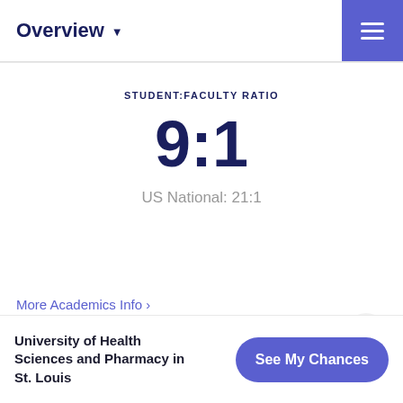Overview ▼
STUDENT:FACULTY RATIO
9:1
US National: 21:1
More Academics Info ›
University of Health Sciences and Pharmacy in St. Louis
See My Chances